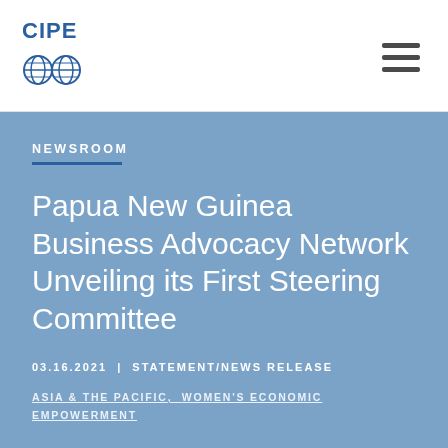CIPE
NEWSROOM
Papua New Guinea Business Advocacy Network Unveiling its First Steering Committee
03.16.2021 | STATEMENT/NEWS RELEASE
ASIA & THE PACIFIC, WOMEN'S ECONOMIC EMPOWERMENT